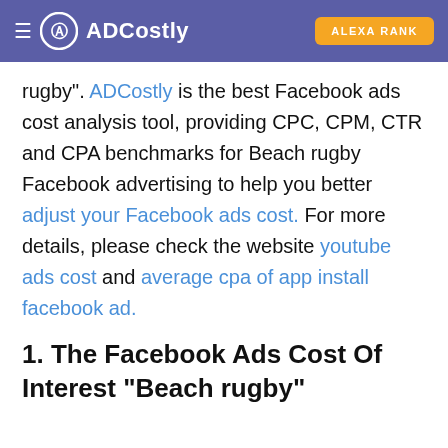ADCostly | ALEXA RANK
rugby". ADCostly is the best Facebook ads cost analysis tool, providing CPC, CPM, CTR and CPA benchmarks for Beach rugby Facebook advertising to help you better adjust your Facebook ads cost. For more details, please check the website youtube ads cost and average cpa of app install facebook ad.
1. The Facebook Ads Cost Of Interest "Beach rugby"